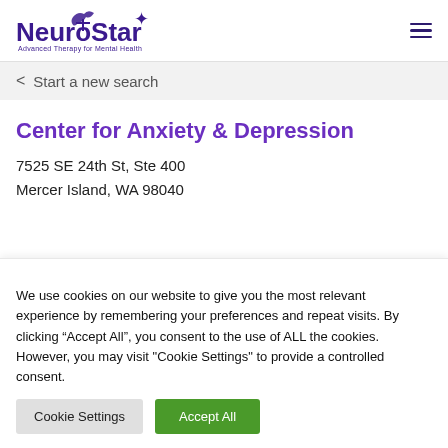[Figure (logo): NeuroStar Advanced Therapy for Mental Health logo with stylized star figure in purple]
< Start a new search
Center for Anxiety & Depression
7525 SE 24th St, Ste 400
Mercer Island, WA 98040
We use cookies on our website to give you the most relevant experience by remembering your preferences and repeat visits. By clicking “Accept All”, you consent to the use of ALL the cookies. However, you may visit "Cookie Settings" to provide a controlled consent.
Cookie Settings   Accept All